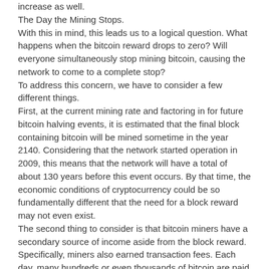increase as well.
The Day the Mining Stops.
With this in mind, this leads us to a logical question. What happens when the bitcoin reward drops to zero? Will everyone simultaneously stop mining bitcoin, causing the network to come to a complete stop?
To address this concern, we have to consider a few different things.
First, at the current mining rate and factoring in for future bitcoin halving events, it is estimated that the final block containing bitcoin will be mined sometime in the year 2140. Considering that the network started operation in 2009, this means that the network will have a total of about 130 years before this event occurs. By that time, the economic conditions of cryptocurrency could be so fundamentally different that the need for a block reward may not even exist.
The second thing to consider is that bitcoin miners have a secondary source of income aside from the block reward. Specifically, miners also earned transaction fees. Each day, many hundreds or even thousands of bitcoin are paid in transaction fees (depending on network conditions). So by the time 2140 rolls around, it is entirely possible that mining purely for transaction fees could be profitable enough for miners to continue mining indefinitely, regardless of their being no block reward anymore. In his widely reviewed white paper, Nakamoto